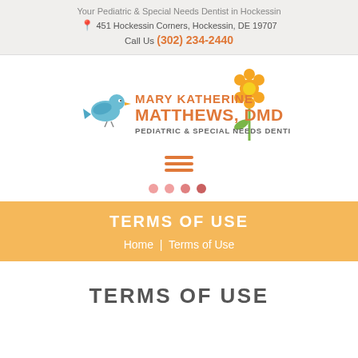Your Pediatric & Special Needs Dentist in Hockessin
451 Hockessin Corners, Hockessin, DE 19707
Call Us (302) 234-2440
[Figure (logo): Mary Katherine Matthews, DMD - Pediatric & Special Needs Dentistry logo with blue bird and orange flower]
[Figure (other): Hamburger menu icon (three orange horizontal lines)]
[Figure (other): Four pink/salmon dots indicating a carousel slider]
TERMS OF USE
Home  |  Terms of Use
TERMS OF USE